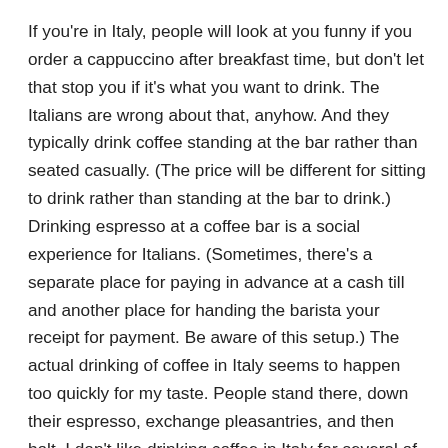If you're in Italy, people will look at you funny if you order a cappuccino after breakfast time, but don't let that stop you if it's what you want to drink. The Italians are wrong about that, anyhow. And they typically drink coffee standing at the bar rather than seated casually. (The price will be different for sitting to drink rather than standing at the bar to drink.) Drinking espresso at a coffee bar is a social experience for Italians. (Sometimes, there's a separate place for paying in advance at a cash till and another place for handing the barista your receipt for payment. Be aware of this setup.) The actual drinking of coffee in Italy seems to happen too quickly for my taste. People stand there, down their espresso, exchange pleasantries, and then bolt. I don't like drinking coffee in Italy for several of these reasons.